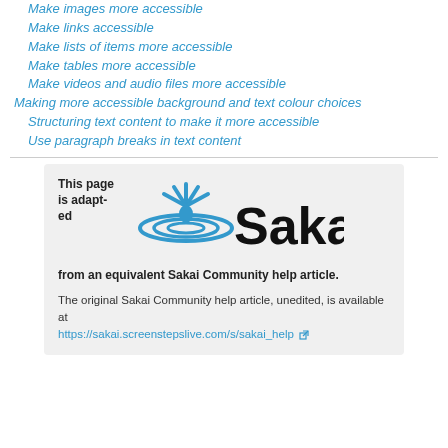Make images more accessible
Make links accessible
Make lists of items more accessible
Make tables more accessible
Make videos and audio files more accessible
Making more accessible background and text colour choices
Structuring text content to make it more accessible
Use paragraph breaks in text content
[Figure (logo): Sakai logo with splash graphic and wordmark]
This page is adapted from an equivalent Sakai Community help article. The original Sakai Community help article, unedited, is available at https://sakai.screenstepslive.com/s/sakai_help